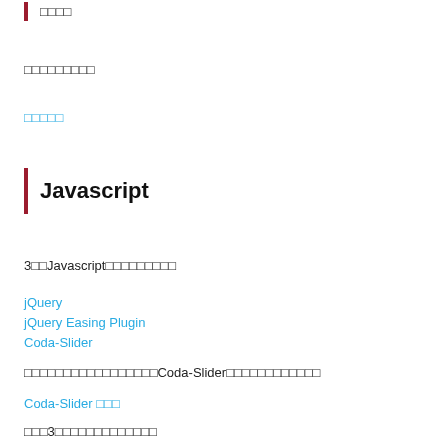□□□□
□□□□□□□□□
□□□□□
Javascript
3□□Javascript□□□□□□□□□
jQuery
jQuery Easing Plugin
Coda-Slider
□□□□□□□□□□□□□□□□□Coda-Slider□□□□□□□□□□□□
Coda-Slider □□□
□□□3□□□□□□□□□□□□□